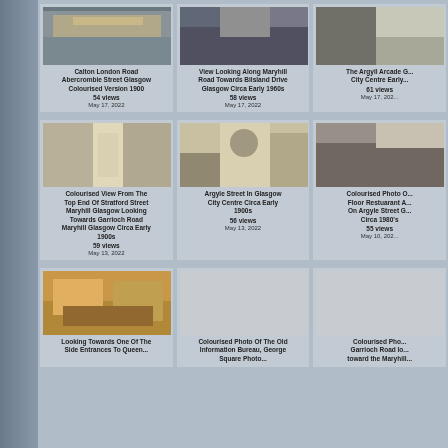[Figure (photo): Calton London Road Abercrombie Street Glasgow historical photo colourised 1900]
Calton London Road Abercrombie Street Glasgow Colourised Version 1900
54 views
May 17, 2022
[Figure (photo): View looking along Maryhill Road towards Bilsland Drive Glasgow circa early 1960s]
View Looking Along Maryhill Road Towards Bilsland Drive Glasgow Circa Early 1960s
58 views
May 17, 2022
[Figure (photo): The Argyll Arcade Glasgow City Centre early photo]
The Argyll Arcade G... City Centre Early...
61 views
May 17, 202...
[Figure (photo): Colourised view from top end of Stratford Street Maryhill Glasgow looking towards Garrioch Road circa early 1900s]
Colourised View From The Top End Of Stratford Street Maryhill Glasgow Looking Towards Garrioch Road Maryhill Glasgow Circa Early 1900s
59 views
May 13, 2022
[Figure (photo): Argyle Street in Glasgow City Centre circa early 1900s colourised postcard]
Argyle Street In Glasgow City Centre Circa Early 1900s
56 views
May 13, 2022
[Figure (photo): Colourised Photo Of floor restaurant on Argyle Street Glasgow circa 1980s]
Colourised Photo O... Floor Restuarant A... On Argyle Street G... Circa 1980's
55 views
May 10, 202...
[Figure (photo): Looking towards one of the side entrances to Queen Street Station Glasgow bus in foreground]
Looking Towards One Of The Side Entrances To Queen...
[Figure (photo): Colourised Photo Of The Old Information Bureau George Square Glasgow]
Colourised Photo Of The Old Information Bureau, George Square Photo...
[Figure (photo): Colourised Photo Garrioch Road looking toward the Maryhill area]
Colourised Pho... Garrioch Road lo... toward the Maryhill...